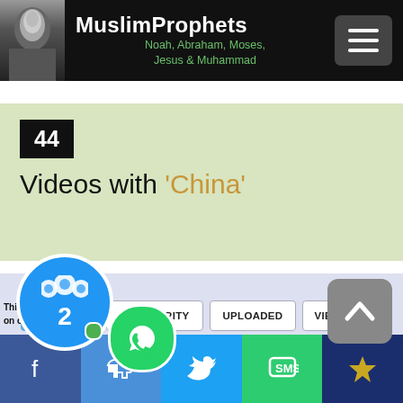MuslimProphets — Noah, Abraham, Moses, Jesus & Muhammad
44 Videos with 'China'
SORT BY | POPULARITY | UPLOADED | VIEW TIME | TITLE A-Z | DURATION
[Figure (screenshot): Bottom social sharing bar with Facebook, Like, Twitter, SMS, and crown icons; chat bubble overlay showing 2 users; WhatsApp icon; scroll-up button]